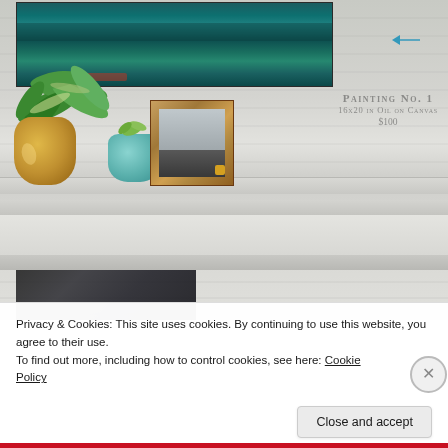[Figure (photo): Photograph of a white-painted brick shelf/mantle displaying: a teal abstract oil painting at top left, a gold ceramic vase with large green plant leaves, a small light-blue pot with succulent, a rustic wood-framed photo print, and a partially visible dark painting at the bottom. Text overlay reads 'Painting No. 1 / 16x20 in Oil on Canvas / $100'.]
Privacy & Cookies: This site uses cookies. By continuing to use this website, you agree to their use.
To find out more, including how to control cookies, see here: Cookie Policy